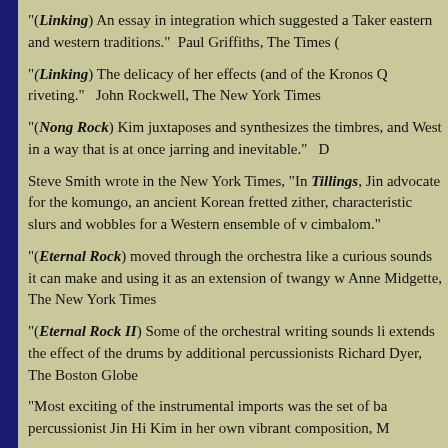"(Linking) An essay in integration which suggested a Taker eastern and western traditions."  Paul Griffiths, The Times (
"(Linking) The delicacy of her effects (and of the Kronos Q riveting."   John Rockwell, The New York Times
"(Nong Rock) Kim juxtaposes and synthesizes the timbres, and West in a way that is at once jarring and inevitable."   D
Steve Smith wrote in the New York Times, "In Tillings, Jin advocate for the komungo, an ancient Korean fretted zither, characteristic slurs and wobbles for a Western ensemble of v cimbalom."
"(Eternal Rock) moved through the orchestra like a curious sounds it can make and using it as an extension of twangy w Anne Midgette, The New York Times
"(Eternal Rock II) Some of the orchestral writing sounds li extends the effect of the drums by additional percussionists Richard Dyer, The Boston Globe
"Most exciting of the instrumental imports was the set of ba percussionist Jin Hi Kim in her own vibrant composition, M